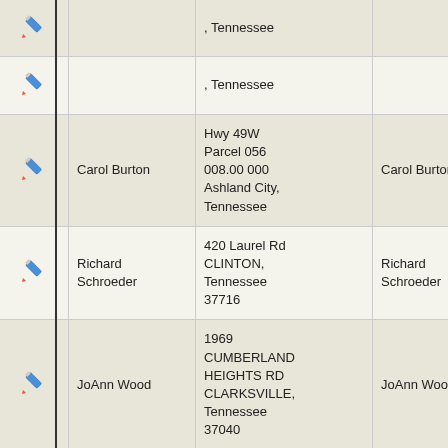|  | Name | Address | Contact | County |
| --- | --- | --- | --- | --- |
| ✏ |  | , Tennessee |  | Cumberland County |
| ✏ |  | , Tennessee |  | Cumberland County |
| ✏ | Carol Burton | Hwy 49W Parcel 056 008.00 000 Ashland City, Tennessee | Carol Burton | Cheatham County |
| ✏ | Richard Schroeder | 420 Laurel Rd CLINTON, Tennessee 37716 | Richard Schroeder | Anderson County |
| ✏ | JoAnn Wood | 1969 CUMBERLAND HEIGHTS RD CLARKSVILLE, Tennessee 37040 | JoAnn Wood | Montgomery County |
| ✏ |  | , Tennessee |  | Bledsoe County |
| ✏ |  | 2283 North Groonhill Road |  |  |